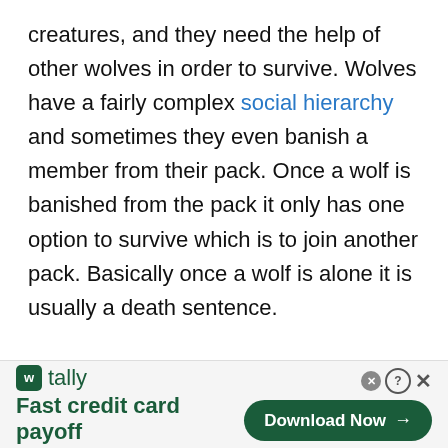creatures, and they need the help of other wolves in order to survive. Wolves have a fairly complex social hierarchy and sometimes they even banish a member from their pack. Once a wolf is banished from the pack it only has one option to survive which is to join another pack. Basically once a wolf is alone it is usually a death sentence.

There are some outlines as there are some wolves that can survive for long periods of time alone. The main difference between dogs and wolves is that
[Figure (other): Advertisement banner for Tally app — 'Fast credit card payoff' with a green Download Now button and close/help icons]